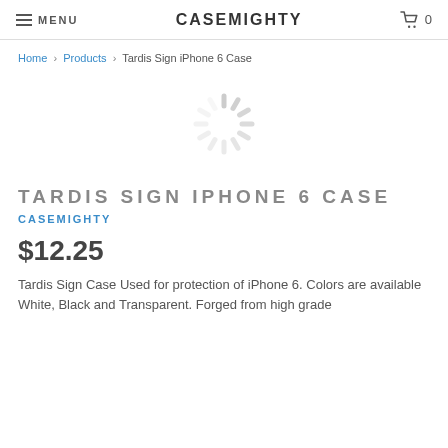MENU  CASEMIGHTY  0
Home › Products › Tardis Sign iPhone 6 Case
[Figure (other): Loading spinner / circular loading indicator graphic in light gray]
TARDIS SIGN IPHONE 6 CASE
CASEMIGHTY
$12.25
Tardis Sign Case Used for protection of iPhone 6. Colors are available White, Black and Transparent. Forged from high grade